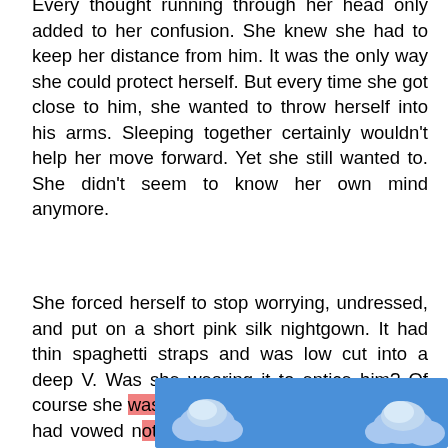Every thought running through her head only added to her confusion. She knew she had to keep her distance from him. It was the only way she could protect herself. But every time she got close to him, she wanted to throw herself into his arms. Sleeping together certainly wouldn't help her move forward. Yet she still wanted to. She didn't seem to know her own mind anymore.

She forced herself to stop worrying, undressed, and put on a short pink silk nightgown. It had thin spaghetti straps and was low cut into a deep V. Was she wearing it to entice him? Of course she was. And that was the very thing she had vowed not to do. R[...] she came [...] to an
[Figure (photo): A rectangular image showing a blue sky with white and light-blue clouds, partially covering the bottom portion of the text.]